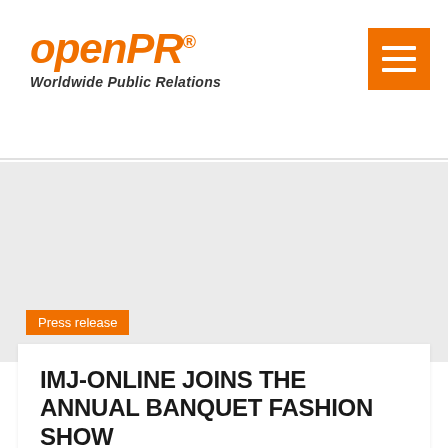openPR® Worldwide Public Relations
[Figure (logo): openPR logo with orange italic bold text and tagline 'Worldwide Public Relations', plus orange hamburger menu button in top right]
Press release
IMJ-ONLINE JOINS THE ANNUAL BANQUET FASHION SHOW
03-19-2008 05:35 PM CET | Arts & Culture
Press release from: International Models Journal